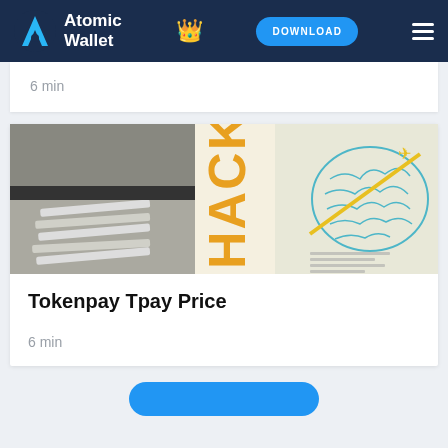Atomic Wallet | DOWNLOAD
6 min
[Figure (photo): Composite image with a black-and-white photo of a person's torso with bandaged arms on the left, and an illustrated human brain with the text 'HACKTRAY' in orange/yellow vertical letters overlaid, with a yellow airplane graphic crossing the brain illustration on the right.]
Tokenpay Tpay Price
6 min